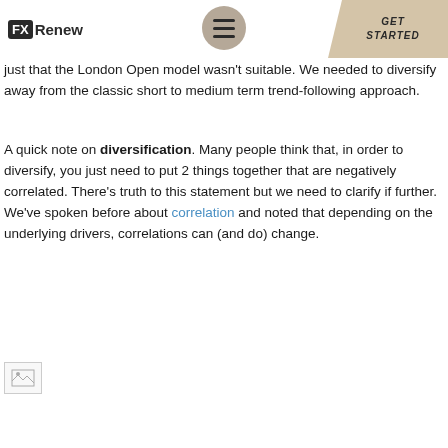FX Renew | GET STARTED
just that the London Open model wasn't suitable. We needed to diversify away from the classic short to medium term trend-following approach.
A quick note on diversification. Many people think that, in order to diversify, you just need to put 2 things together that are negatively correlated. There's truth to this statement but we need to clarify if further. We've spoken before about correlation and noted that depending on the underlying drivers, correlations can (and do) change.
[Figure (other): Broken/missing image placeholder at bottom of page]